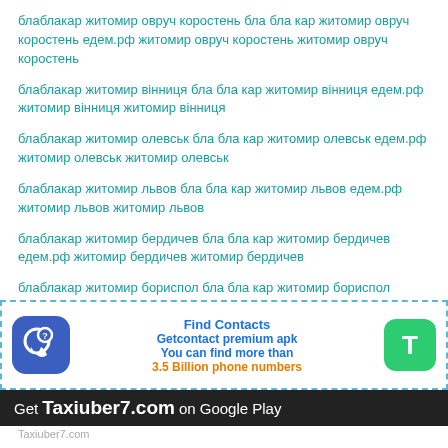блаблакар житомир овруч коростень бла бла кар житомир овруч коростень едем.рф житомир овруч коростень житомир овруч коростень
блаблакар житомир вінниця бла бла кар житомир вінниця едем.рф житомир вінниця житомир вінниця
блаблакар житомир олевськ бла бла кар житомир олевськ едем.рф житомир олевськ житомир олевськ
блаблакар житомир львов бла бла кар житомир львов едем.рф житомир львов житомир львов
блаблакар житомир бердичев бла бла кар житомир бердичев едем.рф житомир бердичев житомир бердичев
блаблакар житомир бориспол бла бла кар житомир бориспол едем.рф житомир бориспол житомир бориспол
[Figure (other): Advertisement banner for Getcontact premium apk with phone icon and T logo. Text: Find Contacts, Getcontact premium apk, You can find more than 3.5 Billion phone numbers]
Get Taxiuber7.com on Google Play